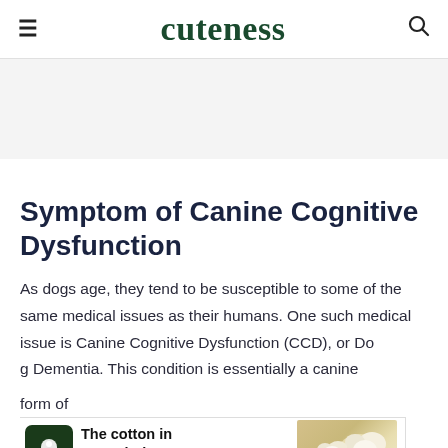cuteness
[Figure (other): Advertisement banner area (gray background placeholder)]
Symptom of Canine Cognitive Dysfunction
As dogs age, they tend to be susceptible to some of the same medical issues as their humans. One such medical issue is Canine Cognitive Dysfunction (CCD), or Do[g...] he form d[...] s of
[Figure (other): Advertisement overlay banner: cotton logo on dark green background, text 'The cotton in your clothes', cotton brand logo, cotton plant image on right]